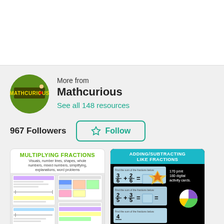More from
Mathcurious
See all 148 resources
967 Followers
Follow
[Figure (illustration): Thumbnail for Multiplying Fractions workbook: green title text on white background with subtitle listing visuals, number lines, shapes, whole numbers, mixed numbers, simplifying, explanations, word problems, and sample worksheet images below]
[Figure (illustration): Thumbnail for Adding/Subtracting Like Fractions activity cards: teal header on black background showing fraction addition equations (3/6 + 2/6 and 2/5 + 3/5) with blank answer boxes, and text '170 print 180 digital activity cards']